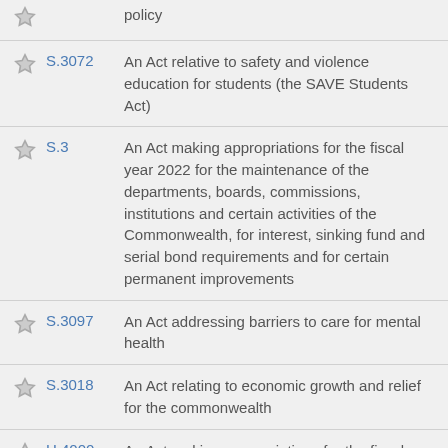policy
S.3072 — An Act relative to safety and violence education for students (the SAVE Students Act)
S.3 — An Act making appropriations for the fiscal year 2022 for the maintenance of the departments, boards, commissions, institutions and certain activities of the Commonwealth, for interest, sinking fund and serial bond requirements and for certain permanent improvements
S.3097 — An Act addressing barriers to care for mental health
S.3018 — An Act relating to economic growth and relief for the commonwealth
H.4000 — An Act making appropriations for the fiscal year 2022 for the maintenance of the departments, boards, commissions, institutions and certain activities of the…